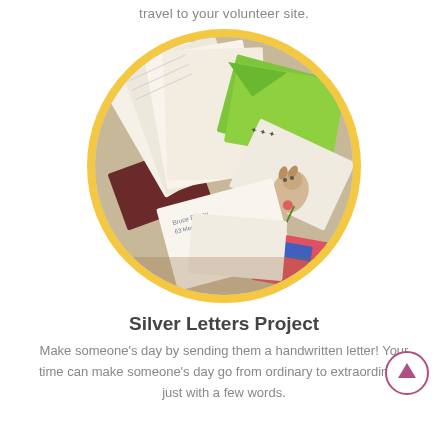travel to your volunteer site.
[Figure (photo): A circular photo surrounded by a golden-yellow border showing a pile of handwritten letters and envelopes in various colors including white, green, yellow, and decorative papers.]
Silver Letters Project
Make someone's day by sending them a handwritten letter! Your time can make someone's day go from ordinary to extraordinary, just with a few words.